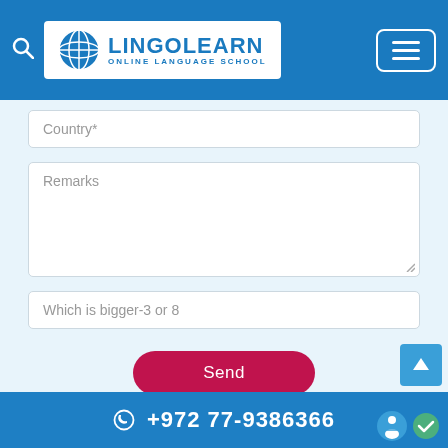LINGOLEARN ONLINE LANGUAGE SCHOOL
Country*
Remarks
Which is bigger-3 or 8
Send
*Required fields
+972 77-9386366